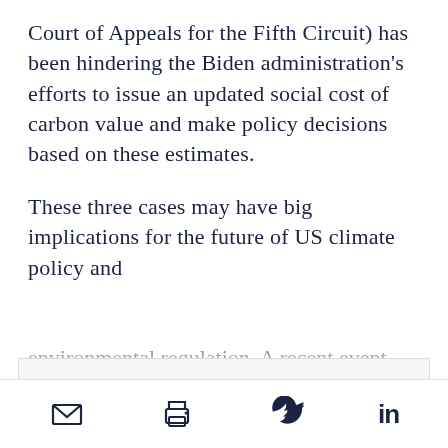Court of Appeals for the Fifth Circuit) has been hindering the Biden administration's efforts to issue an updated social cost of carbon value and make policy decisions based on these estimates.
These three cases may have big implications for the future of US climate policy and environmental regulation. A recent event
We use cookies to provide you with a better service. Carry on browsing if you're happy with this, or find out more.
[email icon] [print icon] [twitter icon] [linkedin icon]